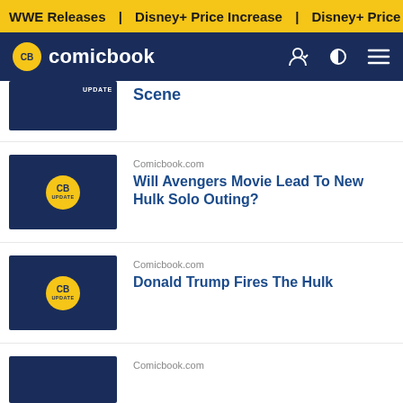WWE Releases | Disney+ Price Increase | Disney+ Price Incre
comicbook
Scene
Comicbook.com
Will Avengers Movie Lead To New Hulk Solo Outing?
Comicbook.com
Donald Trump Fires The Hulk
Comicbook.com